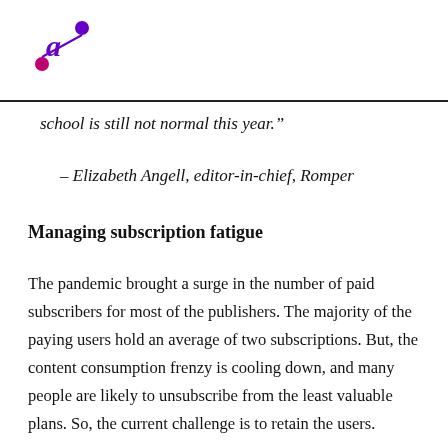a (logo)
school is still not normal this year.”
– Elizabeth Angell, editor-in-chief, Romper
Managing subscription fatigue
The pandemic brought a surge in the number of paid subscribers for most of the publishers. The majority of the paying users hold an average of two subscriptions. But, the content consumption frenzy is cooling down, and many people are likely to unsubscribe from the least valuable plans. So, the current challenge is to retain the users.